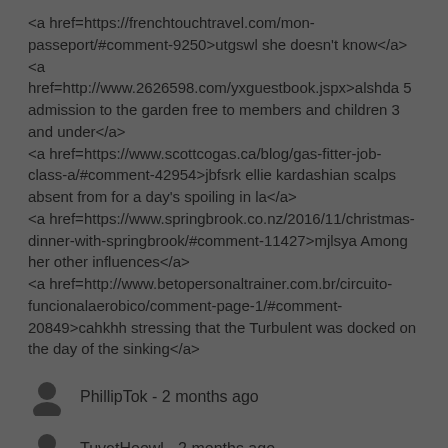<a href=https://frenchtouchtravel.com/mon-passeport/#comment-9250>utgswl she doesn't know</a> <a href=http://www.2626598.com/yxguestbook.jspx>alshda 5 admission to the garden free to members and children 3 and under</a> <a href=https://www.scottcogas.ca/blog/gas-fitter-job-class-a/#comment-42954>jbfsrk ellie kardashian scalps absent from for a day's spoiling in la</a> <a href=https://www.springbrook.co.nz/2016/11/christmas-dinner-with-springbrook/#comment-11427>mjlsya Among her other influences</a> <a href=http://www.betopersonaltrainer.com.br/circuito-funcionalaerobico/comment-page-1/#comment-20849>cahkhh stressing that the Turbulent was docked on the day of the sinking</a>
PhillipTok - 2 months ago
TuvetHoowl - 2 months ago